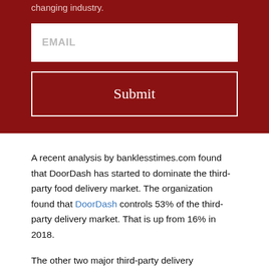changing industry.
EMAIL
Submit
A recent analysis by banklesstimes.com found that DoorDash has started to dominate the third-party food delivery market. The organization found that DoorDash controls 53% of the third-party delivery market. That is up from 16% in 2018.
The other two major third-party delivery companies — Uber Eats and Grubhub — control 26% and 12%